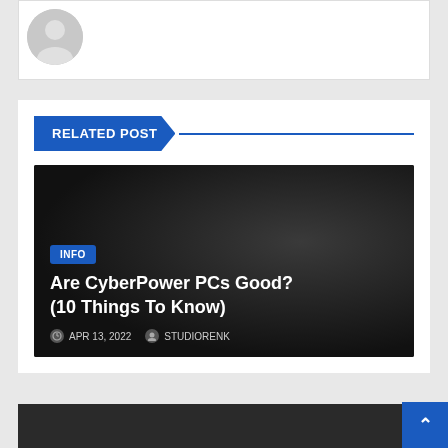[Figure (illustration): User avatar placeholder — circular gray silhouette icon on white card background]
RELATED POST
[Figure (photo): Dark background post card for 'Are CyberPower PCs Good? (10 Things To Know)' with INFO badge, title text, date APR 13, 2022 and author STUDIORENK]
[Figure (photo): Second dark post card preview, partially visible at bottom of page]